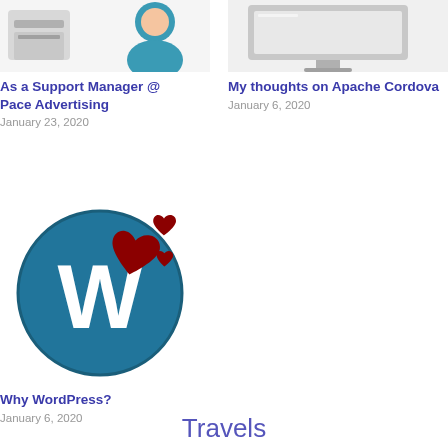[Figure (illustration): Partial image of a printer and person silhouette for 'As a Support Manager @ Pace Advertising' article card]
As a Support Manager @ Pace Advertising
January 23, 2020
[Figure (illustration): Partial image of a computer monitor for 'My thoughts on Apache Cordova' article card]
My thoughts on Apache Cordova
January 6, 2020
[Figure (logo): WordPress logo (blue circle with white W) with red hearts overlay]
Why WordPress?
January 6, 2020
Travels